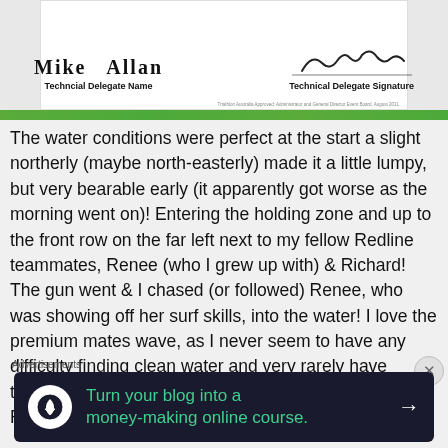[Figure (photo): Document section showing Technical Delegate name 'Mike Allan' with printed label 'Techncial Delegate Name' and a signature on the right with label 'Technical Delegate Signature', with a green decorative strip at the bottom.]
The water conditions were perfect at the start a slight northerly (maybe north-easterly) made it a little lumpy, but very bearable early (it apparently got worse as the morning went on)!  Entering the holding zone and up to the front row on the far left next to my fellow Redline teammates, Renee (who I grew up with) & Richard!  The gun went & I chased (or followed) Renee, who was showing off her surf skills, into the water!  I love the premium mates wave, as I never seem to have any difficulty finding clean water and very rarely have trouble with other athletes swimming on top of me.  Rounding the first buoy
Advertisements
[Figure (screenshot): Advertisement banner: 'Turn your blog into a money-making online course.' with arrow on dark background and tree icon.]